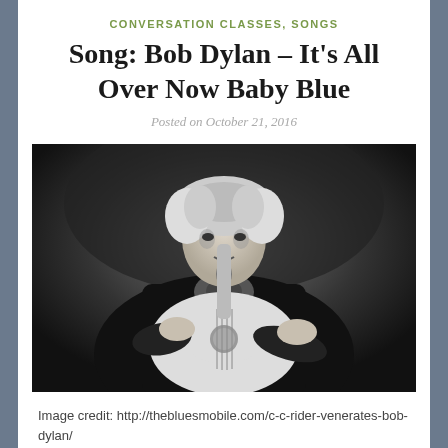CONVERSATION CLASSES, SONGS
Song: Bob Dylan – It's All Over Now Baby Blue
Posted on October 21, 2016
[Figure (photo): Black and white photograph of Bob Dylan playing acoustic guitar at a microphone stand]
Image credit: http://thebluesmobile.com/c-c-rider-venerates-bob-dylan/